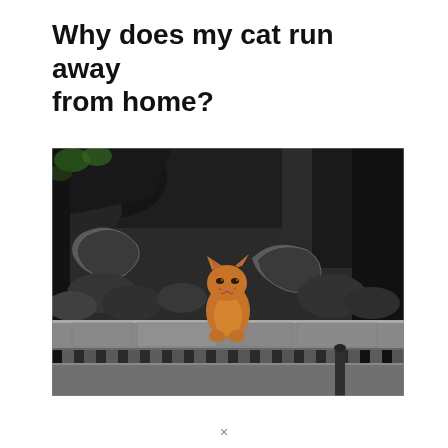Why does my cat run away from home?
[Figure (photo): An orange tabby cat sitting among dark stone structures, rubble and ornate stone fencing, looking directly at the camera with a slightly grumpy expression. The background is monochromatic dark grey with stone pillars and architectural elements.]
×